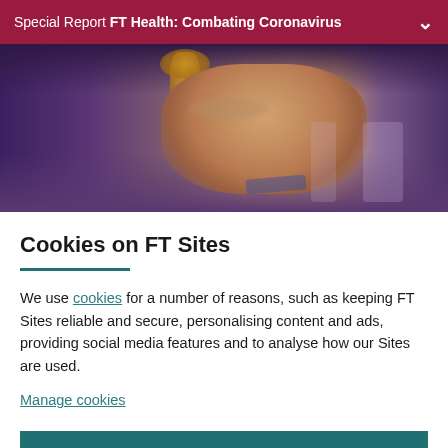Special Report FT Health: Combating Coronavirus
[Figure (photo): Photo of a person speaking at what appears to be an official press briefing, with a golden eagle lectern statue visible in the background and purple/blue architectural elements]
Cookies on FT Sites
We use cookies for a number of reasons, such as keeping FT Sites reliable and secure, personalising content and ads, providing social media features and to analyse how our Sites are used.
Manage cookies
Accept & continue